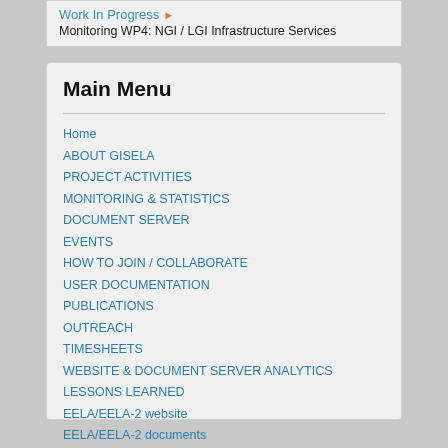Work In Progress ▶ Monitoring WP4: NGI / LGI Infrastructure Services
Main Menu
Home
ABOUT GISELA
PROJECT ACTIVITIES
MONITORING & STATISTICS
DOCUMENT SERVER
EVENTS
HOW TO JOIN / COLLABORATE
USER DOCUMENTATION
PUBLICATIONS
OUTREACH
TIMESHEETS
WEBSITE & DOCUMENT SERVER ANALYTICS
LESSONS LEARNED
EELA/EELA-2 website
EELA/EELA-2 documents
EELA/EELA-2 events